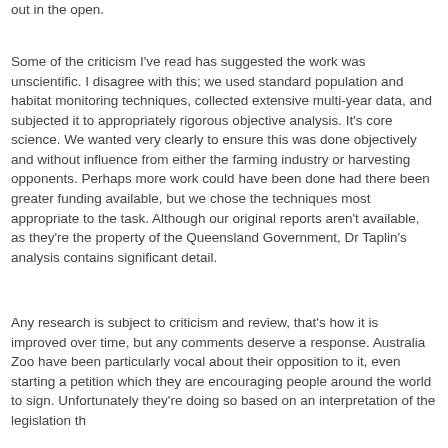out in the open.
Some of the criticism I've read has suggested the work was unscientific. I disagree with this; we used standard population and habitat monitoring techniques, collected extensive multi-year data, and subjected it to appropriately rigorous objective analysis. It's core science. We wanted very clearly to ensure this was done objectively and without influence from either the farming industry or harvesting opponents. Perhaps more work could have been done had there been greater funding available, but we chose the techniques most appropriate to the task. Although our original reports aren't available, as they're the property of the Queensland Government, Dr Taplin's analysis contains significant detail.
Any research is subject to criticism and review, that's how it is improved over time, but any comments deserve a response. Australia Zoo have been particularly vocal about their opposition to it, even starting a petition which they are encouraging people around the world to sign. Unfortunately they're doing so based on an interpretation of the legislation th that falls far short: anywhere, and with a degree of